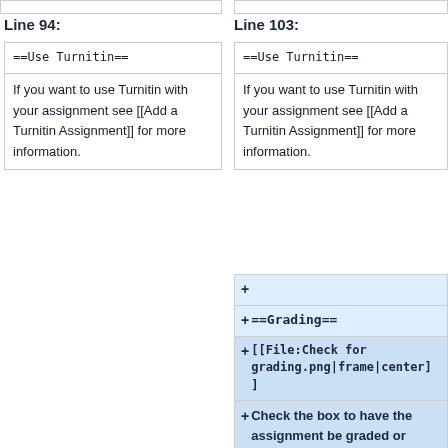Line 94:
Line 103:
| ==Use Turnitin== |
| If you want to use Turnitin with your assignment see [[Add a Turnitin Assignment]] for more information. |
| ==Use Turnitin== |
| If you want to use Turnitin with your assignment see [[Add a Turnitin Assignment]] for more information. |
| + |
| + ==Grading== |
| + [[File:Check for grading.png|frame|center]
] |
| + Check the box to have the assignment be graded or leave the box empty to not associate a grade with the assignment. |